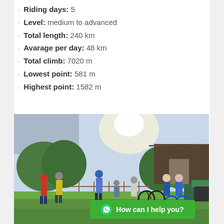Riding days: 5
Level: medium to advanced
Total length: 240 km
Avarage per day: 48 km
Total climb: 7020 m
Lowest point: 581 m
Highest point: 1582 m
[Figure (photo): Group of cyclists with mountain bikes standing on a green meadow in front of a traditional wooden house, sunny day.]
How can I help you?